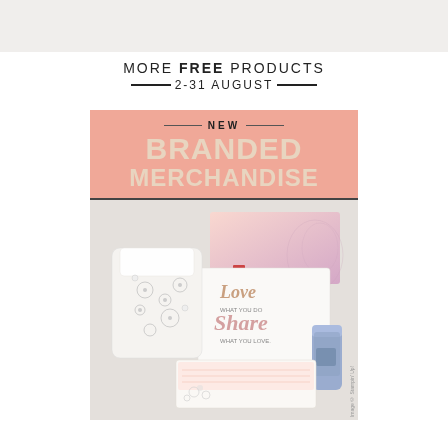[Figure (photo): Top banner: light beige/cream background strip]
MORE FREE PRODUCTS 2-31 AUGUST
[Figure (infographic): Promotional box with pink salmon background header showing 'NEW BRANDED MERCHANDISE' and product photo below showing branded merchandise items including floral bag, notebooks, note cards, a tumbler, and stationery on a grey background]